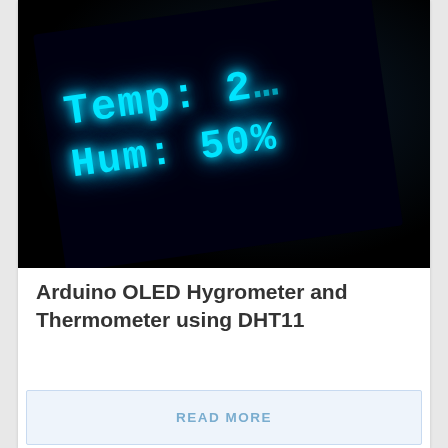[Figure (photo): Close-up photo of an OLED display in darkness showing cyan/blue glowing text 'Temp: 2...' and 'Hum: 50%' on a black background. The display is angled diagonally.]
Arduino OLED Hygrometer and Thermometer using DHT11
READ MORE